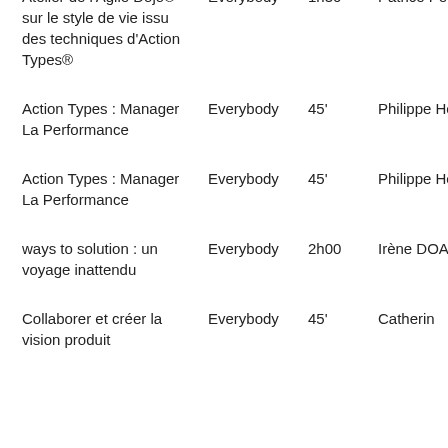| Title | Audience | Duration | Speaker |
| --- | --- | --- | --- |
| Atelier de l'Agile Dojo® sur le style de vie issu des techniques d'Action Types® | Everybody | 1h30 | Patrice Petit |
| Action Types : Manager La Performance | Everybody | 45' | Philippe Houssin |
| Action Types : Manager La Performance | Everybody | 45' | Philippe Houssin |
| ways to solution : un voyage inattendu | Everybody | 2h00 | Irène DOAN |
| Collaborer et créer la vision produit | Everybody | 45' | Catherine |